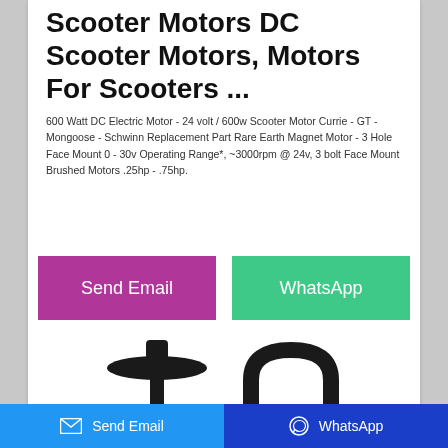Scooter Motors DC Scooter Motors, Motors For Scooters ...
600 Watt DC Electric Motor - 24 volt / 600w Scooter Motor Currie - GT - Mongoose - Schwinn Replacement Part Rare Earth Magnet Motor - 3 Hole Face Mount 0 - 30v Operating Range*, ~3000rpm @ 24v, 3 bolt Face Mount Brushed Motors .25hp - .75hp.
[Figure (other): Two scooter handlebar/stem assemblies shown in black silhouette at the bottom of the page card]
Send Email | WhatsApp